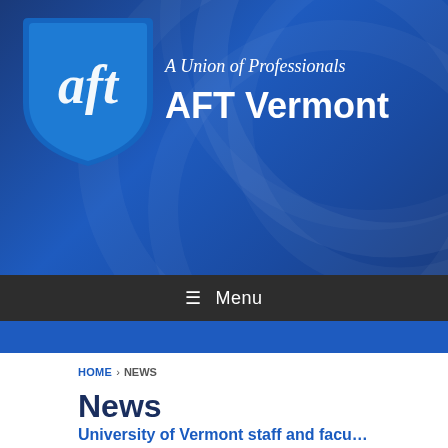[Figure (logo): AFT Vermont logo — shield with 'aft' script text in white on blue, beside italic tagline 'A Union of Professionals' and bold 'AFT Vermont' on dark blue banner background]
☰ Menu
HOME › NEWS
News
University of Vermont staff and facu… important victories